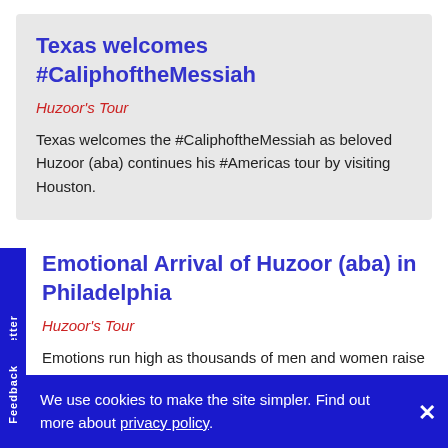Texas welcomes #CaliphoftheMessiah
Huzoor's Tour
Texas welcomes the #CaliphoftheMessiah as beloved Huzoor (aba) continues his #Americas tour by visiting Houston.
Emotional Arrival of Huzoor (aba) in Philadelphia
Huzoor's Tour
Emotions run high as thousands of men and women raise slogans of love and sing poems on the arrival of beloved Khalifatul... #America...
We use cookies to make the site simpler. Find out more about privacy policy.